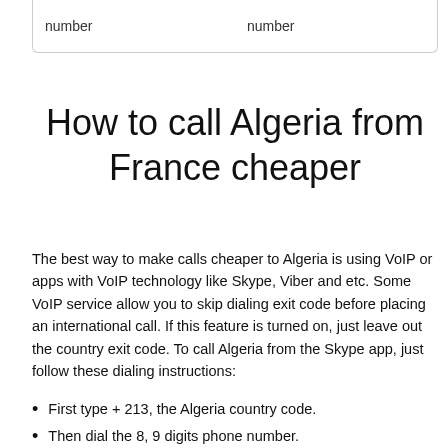| number | number |
| --- | --- |
How to call Algeria from France cheaper
The best way to make calls cheaper to Algeria is using VoIP or apps with VoIP technology like Skype, Viber and etc. Some VoIP service allow you to skip dialing exit code before placing an international call. If this feature is turned on, just leave out the country exit code. To call Algeria from the Skype app, just follow these dialing instructions:
First type + 213, the Algeria country code.
Then dial the 8, 9 digits phone number.